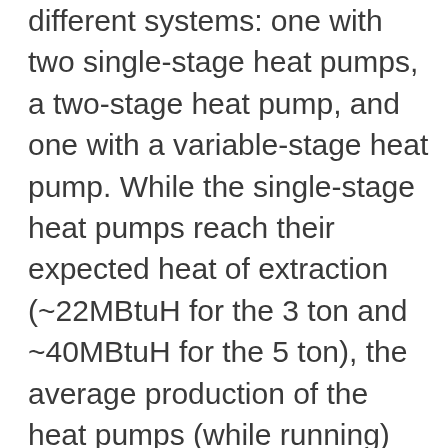different systems: one with two single-stage heat pumps, a two-stage heat pump, and one with a variable-stage heat pump. While the single-stage heat pumps reach their expected heat of extraction (~22MBtuH for the 3 ton and ~40MBtuH for the 5 ton), the average production of the heat pumps (while running) over this same period was 17 MBtuH and 32 MBtuH, about 20% below their steady state